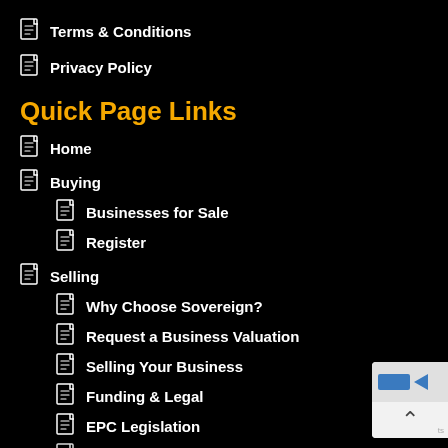Terms & Conditions
Privacy Policy
Quick Page Links
Home
Buying
Businesses for Sale
Register
Selling
Why Choose Sovereign?
Request a Business Valuation
Selling Your Business
Funding & Legal
EPC Legislation
Sovereign Self Service